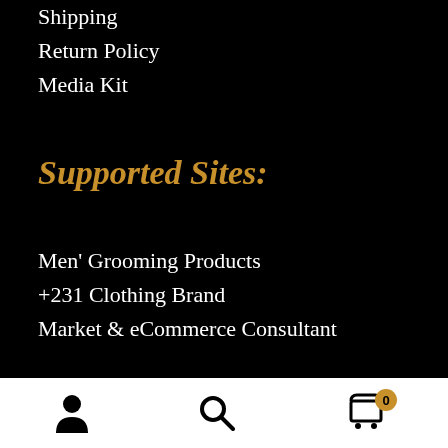Shipping
Return Policy
Media Kit
Supported Sites:
Men' Grooming Products
+231 Clothing Brand
Market & eCommerce Consultant
Navigation bar with user icon, search icon, and cart icon with badge 0